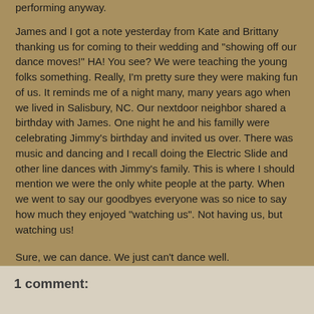performing anyway.
James and I got a note yesterday from Kate and Brittany thanking us for coming to their wedding and "showing off our dance moves!"  HA!  You see?  We were teaching the young folks something.  Really,  I'm pretty sure they were making fun of us.  It reminds me of a night many, many years ago when we lived in Salisbury, NC.   Our nextdoor neighbor shared a birthday with James.  One night he and his familly were celebrating Jimmy's birthday and invited us over.  There was music and dancing and I recall doing the Electric Slide and other line dances with Jimmy's family.  This is where I should mention we were the only white people at the party.  When we went to say our goodbyes everyone was so nice to say how much they enjoyed "watching us".  Not having us, but watching us!
Sure, we can dance.  We just can't dance well.
kpannabecker and jpannabecker at Sunday, November 10, 2013
1 comment: